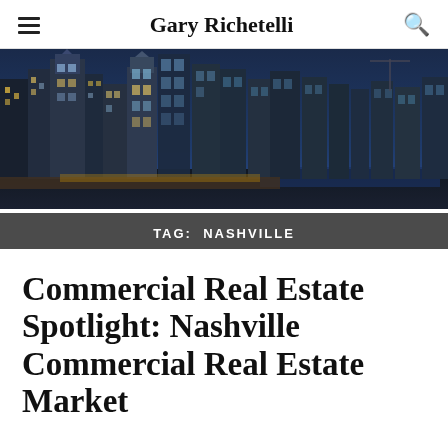Gary Richetelli
[Figure (photo): Aerial night/dusk cityscape photo showing a dense urban skyline with tall skyscrapers lit up against a deep blue twilight sky, with city streets and a river visible below.]
TAG: NASHVILLE
Commercial Real Estate Spotlight: Nashville Commercial Real Estate Market